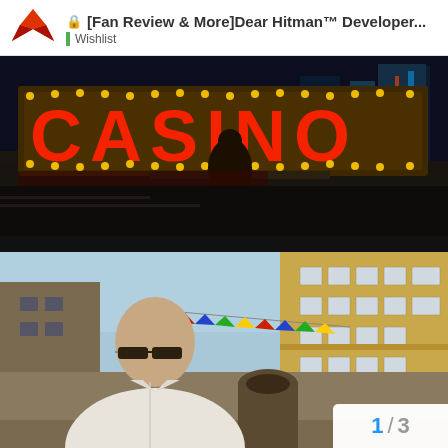[Fan Review & More]Dear Hitman™ Developer... Wishlist
[Figure (photo): Casino scene from Hitman video game showing neon CASINO sign with golden lights, a figure standing on a rooftop against a night city skyline backdrop]
[Figure (photo): Street scene from Hitman video game showing Agent 47 (bald man with sunglasses in white polo shirt) in the foreground against a colorful European-style city street with old buildings, colorful flags/bunting, and warm afternoon light]
1 / 3